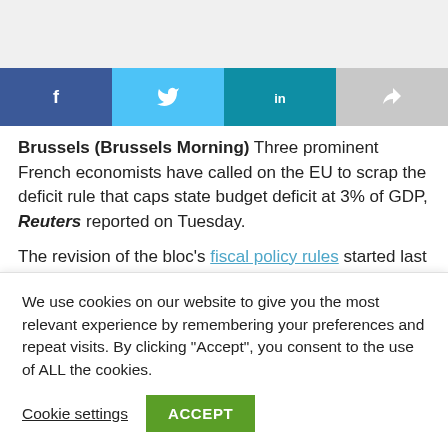[Figure (other): Gray placeholder banner area at top of page]
[Figure (other): Social share bar with Facebook (dark blue), Twitter (light blue), LinkedIn (teal), and forward/share (gray) buttons]
Brussels (Brussels Morning) Three prominent French economists have called on the EU to scrap the deficit rule that caps state budget deficit at 3% of GDP, Reuters reported on Tuesday.

The revision of the bloc's fiscal policy rules started last
We use cookies on our website to give you the most relevant experience by remembering your preferences and repeat visits. By clicking "Accept", you consent to the use of ALL the cookies.
Cookie settings | ACCEPT